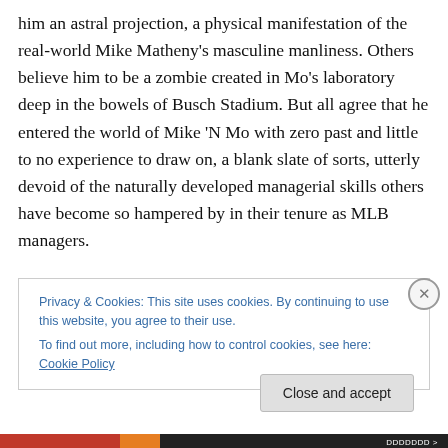him an astral projection, a physical manifestation of the real-world Mike Matheny's masculine manliness. Others believe him to be a zombie created in Mo's laboratory deep in the bowels of Busch Stadium. But all agree that he entered the world of Mike 'N Mo with zero past and little to no experience to draw on, a blank slate of sorts, utterly devoid of the naturally developed managerial skills others have become so hampered by in their tenure as MLB managers.
Whatever he is, and wherever he came from, he leads the
Privacy & Cookies: This site uses cookies. By continuing to use this website, you agree to their use.
To find out more, including how to control cookies, see here: Cookie Policy
Close and accept